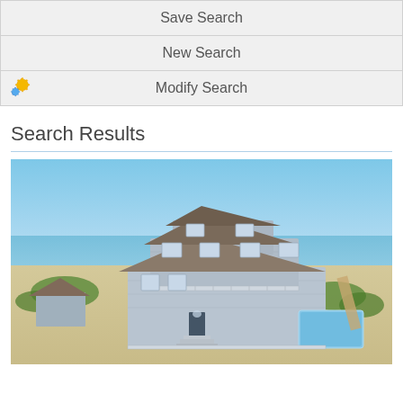Save Search
New Search
Modify Search
Search Results
[Figure (photo): Aerial view of a large gray beach house with pool, sandy dunes, and ocean in the background under a blue sky.]